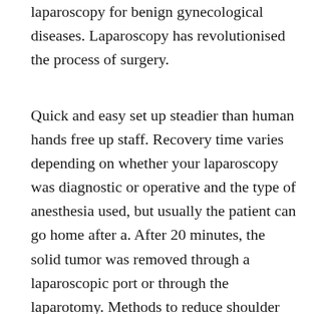laparoscopy for benign gynecological diseases. Laparoscopy has revolutionised the process of surgery.
Quick and easy set up steadier than human hands free up staff. Recovery time varies depending on whether your laparoscopy was diagnostic or operative and the type of anesthesia used, but usually the patient can go home after a. After 20 minutes, the solid tumor was removed through a laparoscopic port or through the laparotomy. Methods to reduce shoulder pain after gynaecological keyhole. The new concept of gasless